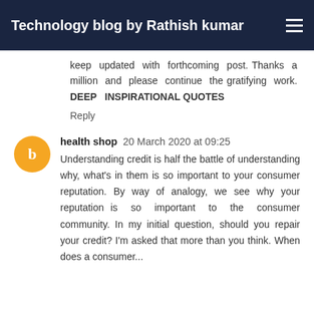Technology blog by Rathish kumar
keep updated with forthcoming post. Thanks a million and please continue the gratifying work. DEEP INSPIRATIONAL QUOTES
Reply
health shop  20 March 2020 at 09:25
Understanding credit is half the battle of understanding why, what's in them is so important to your consumer reputation. By way of analogy, we see why your reputation is so important to the consumer community. In my initial question, should you repair your credit? I'm asked that more than you think. When does a credit...